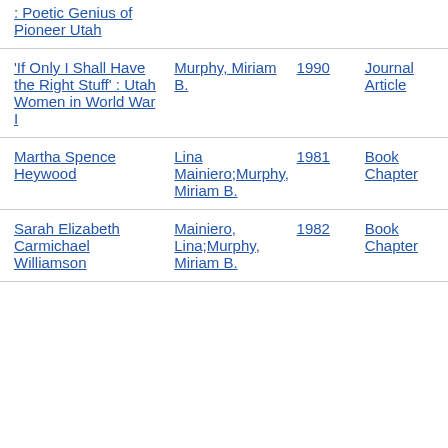| Title | Author | Year | Type |
| --- | --- | --- | --- |
| : Poetic Genius of Pioneer Utah |  |  |  |
| 'If Only I Shall Have the Right Stuff': Utah Women in World War I | Murphy, Miriam B. | 1990 | Journal Article |
| Martha Spence Heywood | Lina Mainiero;Murphy, Miriam B. | 1981 | Book Chapter |
| Sarah Elizabeth Carmichael Williamson | Mainiero, Lina;Murphy, Miriam B. | 1982 | Book Chapter |